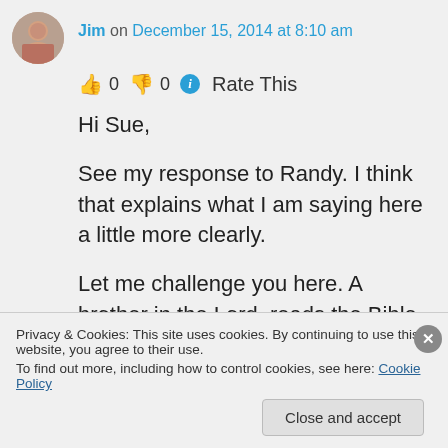Jim on December 15, 2014 at 8:10 am
👍 0 👎 0 ℹ Rate This
Hi Sue,
See my response to Randy. I think that explains what I am saying here a little more clearly.
Let me challenge you here. A brother in the Lord, reads the Bible and through prayer
Privacy & Cookies: This site uses cookies. By continuing to use this website, you agree to their use.
To find out more, including how to control cookies, see here: Cookie Policy
Close and accept